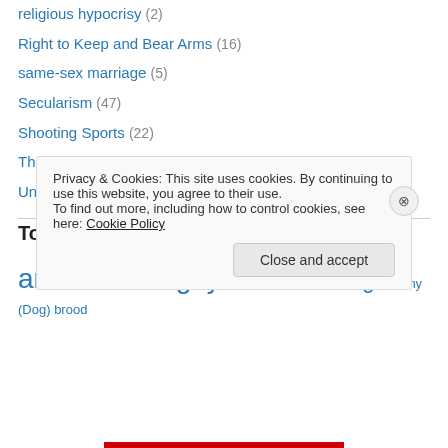religious hypocrisy (2)
Right to Keep and Bear Arms (16)
same-sex marriage (5)
Secularism (47)
Shooting Sports (22)
Theology (40)
Uncategorized (1)
Top Tags
animals Anti-gay birds breeding Brittany (Dog) brood
Privacy & Cookies: This site uses cookies. By continuing to use this website, you agree to their use. To find out more, including how to control cookies, see here: Cookie Policy
Close and accept